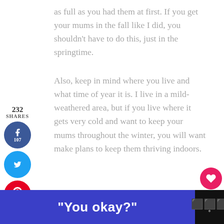as full as you had them at first. If you get your mums in the fall like I did, you shouldn't have to do this, just in the springtime.

Also, keep in mind where you live and what time of year it is. I live in a mild-weathered area, but if you live where it gets very cold and want to keep your mums throughout the winter, you will want make plans to keep them thriving indoors.
The Perfect Container Plant
Mums make great container plants with their large beautiful mounds of flowers. Whether you
[Figure (infographic): Social sharing sidebar with Facebook (107 shares), Twitter, and Pinterest (125) buttons, plus a share count of 232 at top.]
[Figure (infographic): Right-side action buttons: pink heart/like icon with count 234, and a share icon.]
[Figure (infographic): What's Next panel with flower photo and text '10 of the Easiest...']
"You okay?"
[Figure (logo): Ad banner footer with blue background showing text 'You okay?' and a dark logo area on the right.]